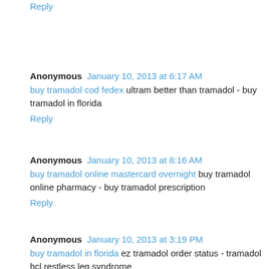Reply
Anonymous  January 10, 2013 at 6:17 AM
buy tramadol cod fedex ultram better than tramadol - buy tramadol in florida
Reply
Anonymous  January 10, 2013 at 8:16 AM
buy tramadol online mastercard overnight buy tramadol online pharmacy - buy tramadol prescription
Reply
Anonymous  January 10, 2013 at 3:19 PM
buy tramadol in florida ez tramadol order status - tramadol hcl restless leg syndrome
Reply